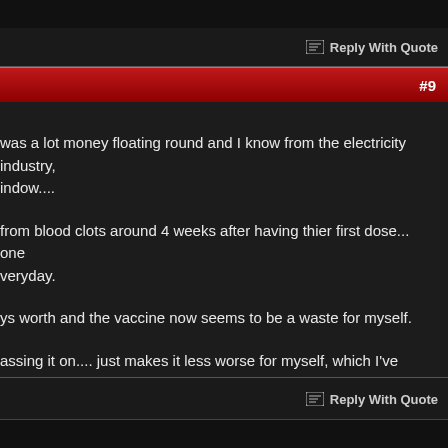Reply With Quote
#9
was a lot money floating round and I know from the electricity industry, indow....
from blood clots around 4 weeks after having thier first dose... one veryday.
ys worth and the vaccine now seems to be a waste for myself.
assing it on.... just makes it less worse for myself, which I've already had
Reply With Quote